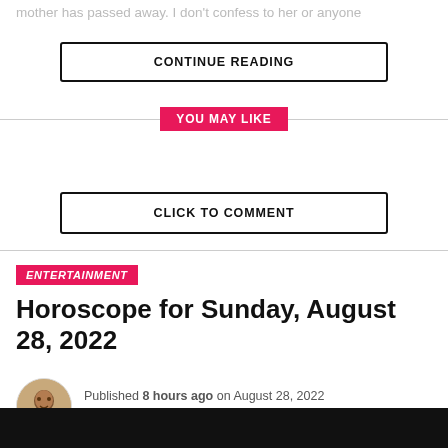mother has passed away. I don't confess to her or anyone
CONTINUE READING
YOU MAY LIKE
CLICK TO COMMENT
ENTERTAINMENT
Horoscope for Sunday, August 28, 2022
Published 8 hours ago on August 28, 2022
By Isaiah Wright